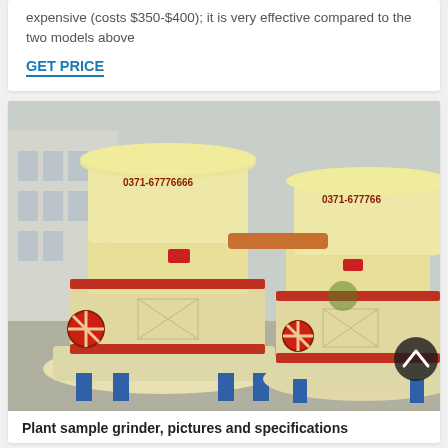expensive (costs $350-$400); it is very effective compared to the two models above
GET PRICE
[Figure (photo): Two large yellow industrial plant sample grinder machines (Raymond mills) side by side in a factory yard. Each machine has a cylindrical top section with '0371-67776666' printed on it in brown text, red horizontal bands, and a wide circular base with blue legs. Red wheel-like mechanisms are visible on the sides. Industrial building visible in background.]
Plant sample grinder, pictures and specifications